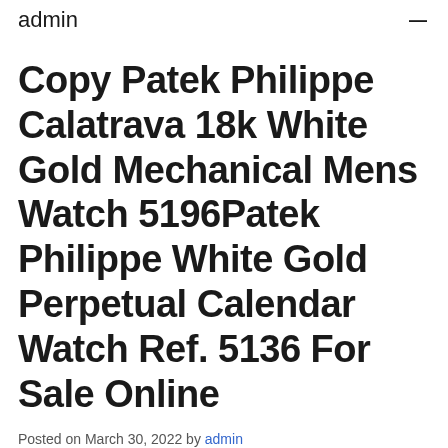admin —
Copy Patek Philippe Calatrava 18k White Gold Mechanical Mens Watch 5196Patek Philippe White Gold Perpetual Calendar Watch Ref. 5136 For Sale Online
Posted on March 30, 2022 by admin
Copy Patek Philippe Calatrava 18k